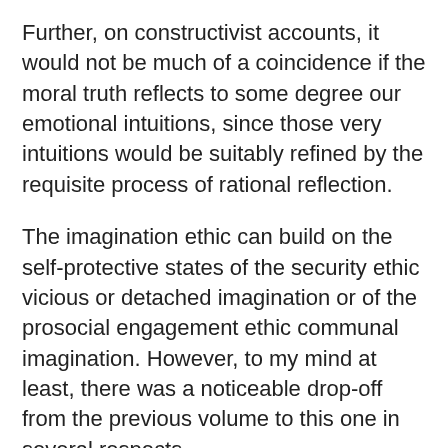Further, on constructivist accounts, it would not be much of a coincidence if the moral truth reflects to some degree our emotional intuitions, since those very intuitions would be suitably refined by the requisite process of rational reflection.
The imagination ethic can build on the self-protective states of the security ethic vicious or detached imagination or of the prosocial engagement ethic communal imagination. However, to my mind at least, there was a noticeable drop-off from the previous volume to this one in several respects.
Most secular psychologists tend to let the patient determine the morality of the relevant sexual behaviors, but even here this stance is not reliable. In the film, the extent of Joshua's acting out is not detailed, although it is noted that it is not necessarily worse than other children who are never put in